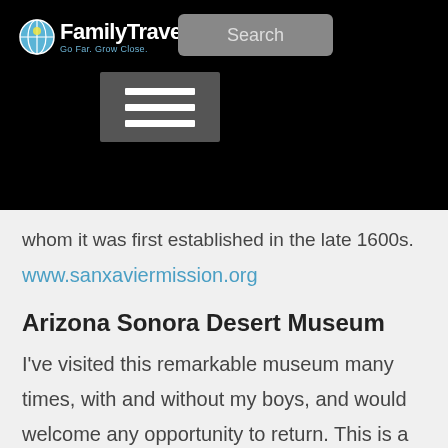FamilyTravel.com — Go Far. Grow Close. | Search
whom it was first established in the late 1600s.
www.sanxaviermission.org
Arizona Sonora Desert Museum
I've visited this remarkable museum many times, with and without my boys, and would welcome any opportunity to return. This is a great way to introduce children (and adults) to the magnificence of the Sonoran desert and all